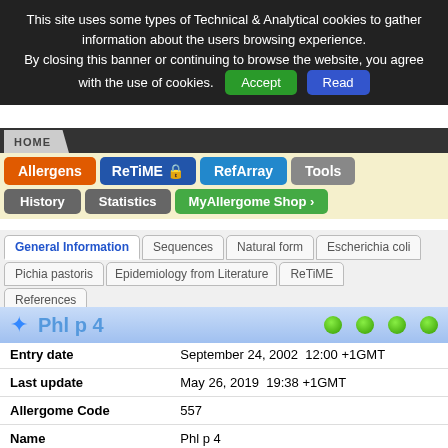This site uses some types of Technical & Analytical cookies to gather information about the users browsing experience. By closing this banner or continuing to browse the website, you agree with the use of cookies. Accept Read
[Figure (screenshot): Navigation bar with HOME tab, Allergens (orange), ReTiME (blue with lock), RefArray (blue), Tools (gray) buttons, and History, Statistics (gray), MyAllergome Shop (green) buttons on yellow background]
[Figure (screenshot): Tab navigation: General Information (active/blue), Sequences, Natural form, Escherichia coli, Pichia pastoris, Epidemiology from Literature, ReTiME, References]
Phl p 4
| Field | Value |
| --- | --- |
| Entry date | September 24, 2002  12:00 +1GMT |
| Last update | May 26, 2019  19:38 +1GMT |
| Allergome Code | 557 |
| Name | Phl p 4 |
| Previous Names | Phl p IV |
| Common Names | CCD-bearing Protein (XF), g208, Grasses, Group 4 |
| Biological Function | Berberine Bridge Enzymes |